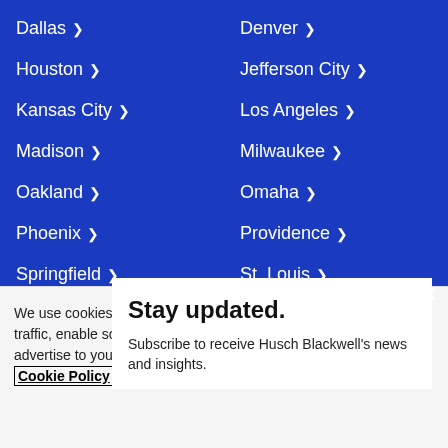Dallas ›
Denver ›
Houston ›
Jefferson City ›
Kansas City ›
Los Angeles ›
Madison ›
Milwaukee ›
Oakland ›
Omaha ›
Phoenix ›
Providence ›
Springfield ›
St. Louis ›
St. Louis – Cortex ›
The Link Virtual Office ›
W
Stay updated.
Subscribe to receive Husch Blackwell's news and insights.
We use cookies to optimize site functionality, analyze our traffic, enable social media functionality and, in some cases, advertise to you through third parties. To learn more, view our Cookie Policy.